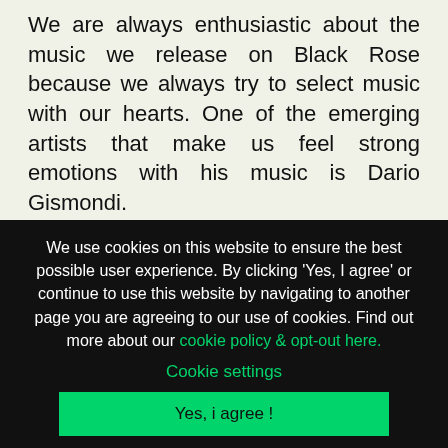We are always enthusiastic about the music we release on Black Rose because we always try to select music with our hearts. One of the emerging artists that make us feel strong emotions with his music is Dario Gismondi.
What are two tracks on Black Rose
We use cookies on this website to ensure the best possible user experience. By clicking 'Yes, I agree' or continue to use this website by navigating to another page you are agreeing to our use of cookies. Find out more about our cookie policy & opt-out here.
Cookie settings
Yes, i agree !